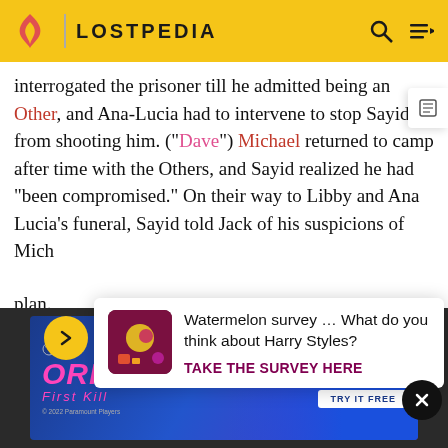LOSTPEDIA
interrogated the prisoner till he admitted being an Other, and Ana-Lucia had to intervene to stop Sayid from shooting him. ("Dave") Michael returned to camp after time with the Others, and Sayid realized he had "been compromised." On their way to Libby and Ana Lucia's funeral, Sayid told Jack of his suspicions of Michael's plan. offsh...
[Figure (screenshot): Popup ad: Watermelon survey about Harry Styles with a colorful icon and TAKE THE SURVEY HERE CTA button]
[Figure (screenshot): Advertisement banner for Orphan: First Kill movie, streaming on Paramount+]